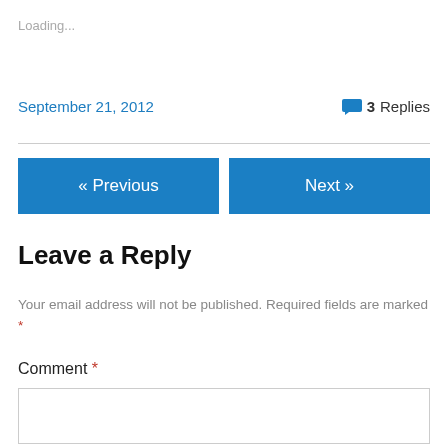Loading...
September 21, 2012
3 Replies
« Previous
Next »
Leave a Reply
Your email address will not be published. Required fields are marked *
Comment *